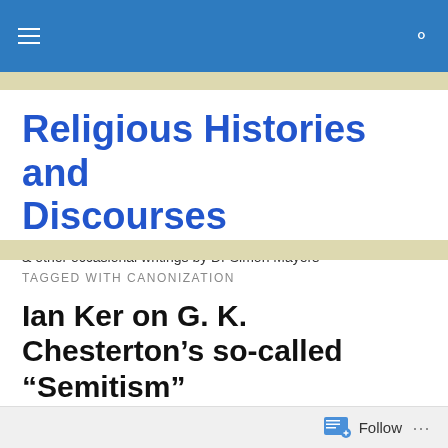Religious Histories and Discourses — navigation bar
Religious Histories and Discourses
& other occasional writings by Dr Simon Mayers
TAGGED WITH CANONIZATION
Ian Ker on G. K. Chesterton's so-called “Semitism”
Ian Ker’s biography of G. K. Chesterton, published in 2011, seems to be widely regarded as the most